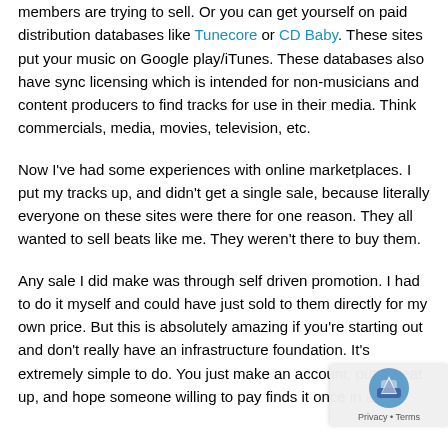members are trying to sell. Or you can get yourself on paid distribution databases like Tunecore or CD Baby. These sites put your music on Google play/iTunes. These databases also have sync licensing which is intended for non-musicians and content producers to find tracks for use in their media. Think commercials, media, movies, television, etc.
Now I've had some experiences with online marketplaces. I put my tracks up, and didn't get a single sale, because literally everyone on these sites were there for one reason. They all wanted to sell beats like me. They weren't there to buy them.
Any sale I did make was through self driven promotion. I had to do it myself and could have just sold to them directly for my own price. But this is absolutely amazing if you're starting out and don't really have an infrastructure foundation. It's extremely simple to do. You just make an account, put a beat up, and hope someone willing to pay finds it once in a